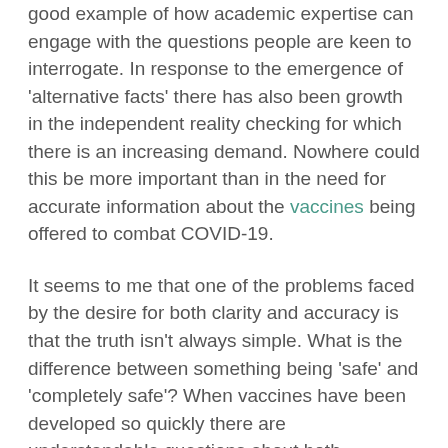good example of how academic expertise can engage with the questions people are keen to interrogate. In response to the emergence of 'alternative facts' there has also been growth in the independent reality checking for which there is an increasing demand. Nowhere could this be more important than in the need for accurate information about the vaccines being offered to combat COVID-19.
It seems to me that one of the problems faced by the desire for both clarity and accuracy is that the truth isn't always simple. What is the difference between something being 'safe' and 'completely safe'? When vaccines have been developed so quickly there are understandable questions about both immediate side-effects and longer-term consequences. Even a very good sample of people used in the testing